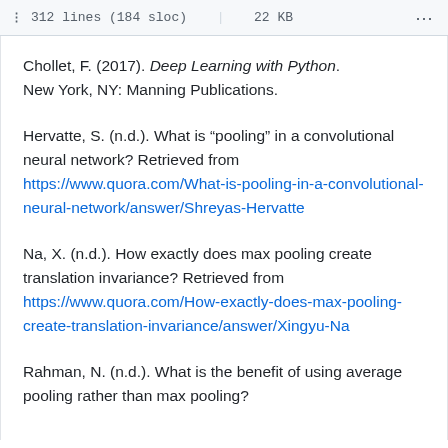312 lines (184 sloc)  |  22 KB
Chollet, F. (2017). Deep Learning with Python. New York, NY: Manning Publications.
Hervatte, S. (n.d.). What is “pooling” in a convolutional neural network? Retrieved from https://www.quora.com/What-is-pooling-in-a-convolutional-neural-network/answer/Shreyas-Hervatte
Na, X. (n.d.). How exactly does max pooling create translation invariance? Retrieved from https://www.quora.com/How-exactly-does-max-pooling-create-translation-invariance/answer/Xingyu-Na
Rahman, N. (n.d.). What is the benefit of using average pooling rather than max pooling?